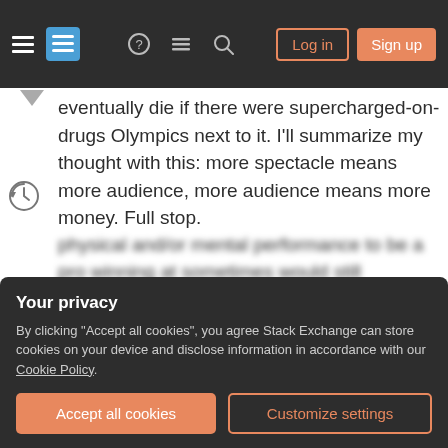Stack Exchange navigation header with Log in and Sign up buttons
eventually die if there were supercharged-on-drugs Olympics next to it. I'll summarize my thought with this: more spectacle means more audience, more audience means more money. Full stop.
It wouldn't happen tomorrow, and Olympics may survive as a marginal thing. But it's kind of a self-fulfilling prophecy, the less viewership the less coverage, and the less coverage the less viewership. Eventually, TV networks would go where the money is, and the money would go where the
Your privacy
By clicking "Accept all cookies", you agree Stack Exchange can store cookies on your device and disclose information in accordance with our Cookie Policy.
Accept all cookies
Customize settings
physical and/or mental performance to be a pro winning at